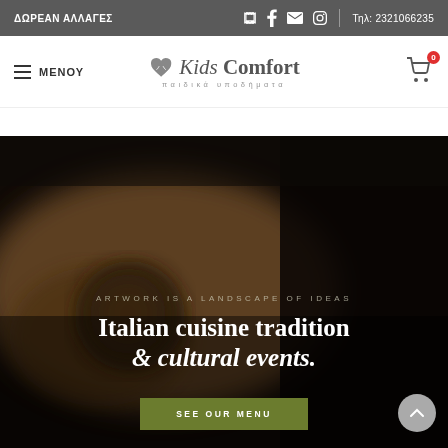ΔΩΡΕΑΝ ΑΛΛΑΓΕΣ | Τηλ: 2321066235
[Figure (logo): Kids Comfort παιδικά υποδήματα logo with heart/hands icon]
ΜΕΝΟΥ
[Figure (illustration): Blurred dark background with wooden cutting board and cup, hero image for restaurant]
ARTWORK IS A LANDSCAPE OF IDEAS
Italian cuisine tradition & cultural events.
SEE OUR MENU